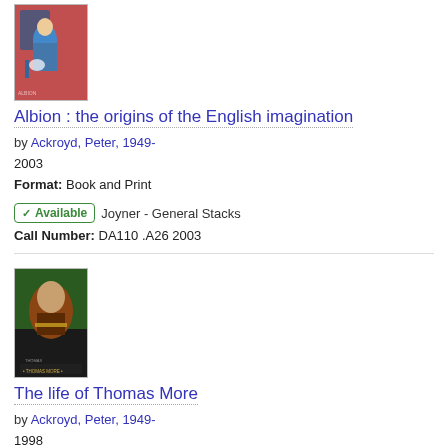[Figure (photo): Book cover of Albion: the origins of the English imagination, showing an illustrated figure in blue coat]
Albion : the origins of the English imagination
by Ackroyd, Peter, 1949-
2003
Format: Book and Print
✓ Available   Joyner - General Stacks
Call Number: DA110 .A26 2003
[Figure (photo): Book cover of The life of Thomas More, showing a portrait painting of Thomas More]
The life of Thomas More
by Ackroyd, Peter, 1949-
1998